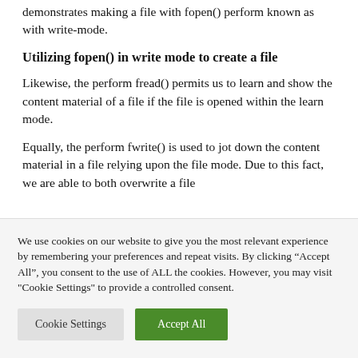demonstrates making a file with fopen() perform known as with write-mode.
Utilizing fopen() in write mode to create a file
Likewise, the perform fread() permits us to learn and show the content material of a file if the file is opened within the learn mode.
Equally, the perform fwrite() is used to jot down the content material in a file relying upon the file mode. Due to this fact, we are able to both overwrite a file
We use cookies on our website to give you the most relevant experience by remembering your preferences and repeat visits. By clicking “Accept All”, you consent to the use of ALL the cookies. However, you may visit "Cookie Settings" to provide a controlled consent.